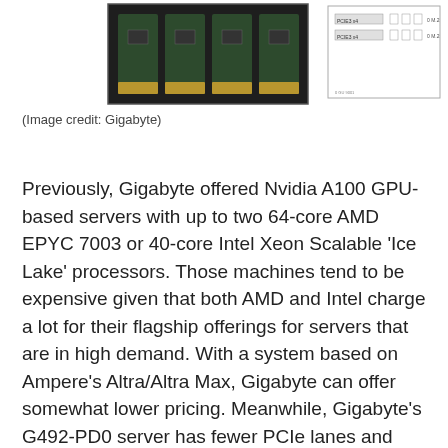[Figure (photo): Partial view of hardware images at top of page: a close-up of a dark circuit board/server component on the left, and a schematic/diagram on the right showing PCIe lane configurations.]
(Image credit: Gigabyte)
Previously, Gigabyte offered Nvidia A100 GPU-based servers with up to two 64-core AMD EPYC 7003 or 40-core Intel Xeon Scalable 'Ice Lake' processors. Those machines tend to be expensive given that both AMD and Intel charge a lot for their flagship offerings for servers that are in high demand. With a system based on Ampere's Altra/Altra Max, Gigabyte can offer somewhat lower pricing. Meanwhile, Gigabyte's G492-PD0 server has fewer PCIe lanes and potentially lower performance in some workloads, but organizations